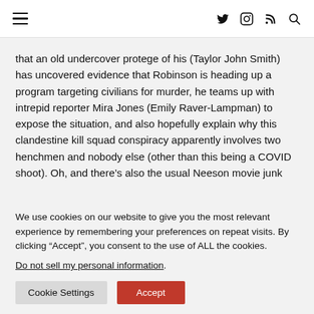Navigation bar with hamburger menu and icons: Twitter, Instagram, RSS, Search
that an old undercover protege of his (Taylor John Smith) has uncovered evidence that Robinson is heading up a program targeting civilians for murder, he teams up with intrepid reporter Mira Jones (Emily Raver-Lampman) to expose the situation, and also hopefully explain why this clandestine kill squad conspiracy apparently involves two henchmen and nobody else (other than this being a COVID shoot). Oh, and there's also the usual Neeson movie junk
We use cookies on our website to give you the most relevant experience by remembering your preferences on repeat visits. By clicking “Accept”, you consent to the use of ALL the cookies.
Do not sell my personal information.